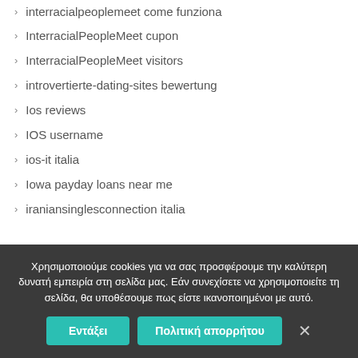interracialpeoplemeet come funziona
InterracialPeopleMeet cupon
InterracialPeopleMeet visitors
introvertierte-dating-sites bewertung
Ios reviews
IOS username
ios-it italia
Iowa payday loans near me
iraniansinglesconnection italia
Χρησιμοποιούμε cookies για να σας προσφέρουμε την καλύτερη δυνατή εμπειρία στη σελίδα μας. Εάν συνεχίσετε να χρησιμοποιείτε τη σελίδα, θα υποθέσουμε πως είστε ικανοποιημένοι με αυτό.
Εντάξει | Πολιτική απορρήτου